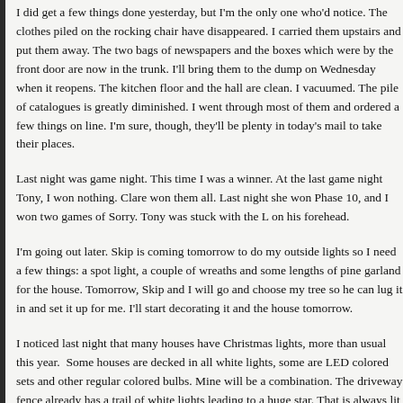I did get a few things done yesterday, but I'm the only one who'd notice. The clothes piled on the rocking chair have disappeared. I carried them upstairs and put them away. The two bags of newspapers and the boxes which were by the front door are now in the trunk. I'll bring them to the dump on Wednesday when it reopens. The kitchen floor and the hall are clean. I vacuumed. The pile of catalogues is greatly diminished. I went through most of them and ordered a few things on line. I'm sure, though, they'll be plenty in today's mail to take their places.
Last night was game night. This time I was a winner. At the last game night Tony, I won nothing. Clare won them all. Last night she won Phase 10, and I won two games of Sorry. Tony was stuck with the L on his forehead.
I'm going out later. Skip is coming tomorrow to do my outside lights so I need a few things: a spot light, a couple of wreaths and some lengths of pine garland for the house. Tomorrow, Skip and I will go and choose my tree so he can lug it in and set it up for me. I'll start decorating it and the house tomorrow.
I noticed last night that many houses have Christmas lights, more than usual this year. Some houses are decked in all white lights, some are LED colored sets and others have regular colored bulbs. Mine will be a combination. The driveway fence already has a trail of white lights leading to a huge star. That is always lit to keep the darkness at bay. The front fence will have colored bulbs as will the deck rail in the back. The bushes on the side of the house will have huge ornaments lit by a spotlight. An old sled will stand by the front door with ice skates draped on it. They'll have regular light